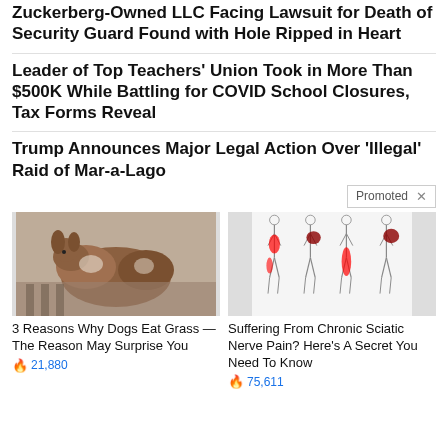Zuckerberg-Owned LLC Facing Lawsuit for Death of Security Guard Found with Hole Ripped in Heart
Leader of Top Teachers' Union Took in More Than $500K While Battling for COVID School Closures, Tax Forms Reveal
Trump Announces Major Legal Action Over ‘Illegal’ Raid of Mar-a-Lago
Promoted X
[Figure (photo): Photo of two dogs lying together, a brown and white Australian Shepherd.]
3 Reasons Why Dogs Eat Grass — The Reason May Surprise You
🔥 21,880
[Figure (illustration): Medical illustration showing body figures with red highlighted areas indicating sciatic nerve pain locations.]
Suffering From Chronic Sciatic Nerve Pain? Here's A Secret You Need To Know
🔥 75,611